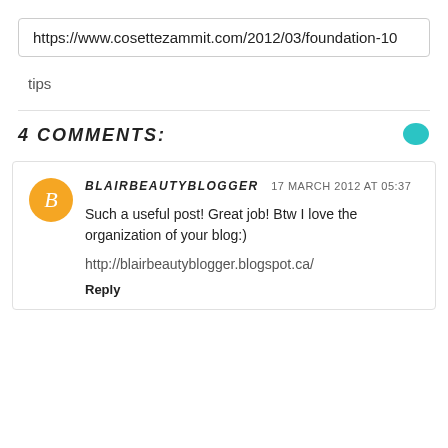https://www.cosettezammit.com/2012/03/foundation-10
tips
4 COMMENTS:
BLAIRBEAUTYBLOGGER  17 MARCH 2012 AT 05:37

Such a useful post! Great job! Btw I love the organization of your blog:)

http://blairbeautyblogger.blogspot.ca/

Reply